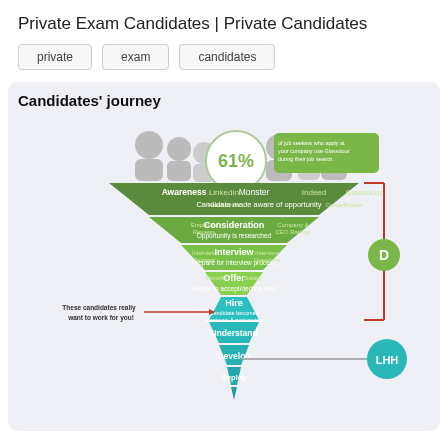Private Exam Candidates | Private Candidates
private
exam
candidates
Candidates' journey
[Figure (infographic): Funnel diagram showing candidates' journey stages: Awareness (LinkedIn, Monster, Indeed, Glassdoor, HeadHunter, CareerBuilder), Consideration (Employee Reviews, Opportunity is researched, Company & CEO Ratings), Interview (Interview Reviews, Prepare for interview process, Interview Questions), Offer (Benefits, Decide to accept/decline offer, Salary), Hire (Candidate becomes employee & post review), Understand, Develop, Deploy. 61% stat bubble: of job seekers who apply at your company use Glassdoor during their job search. Red bracket on right side with Glassdoor D logo. Gray line to LHH circle. Note: These candidates really want to work for you!]